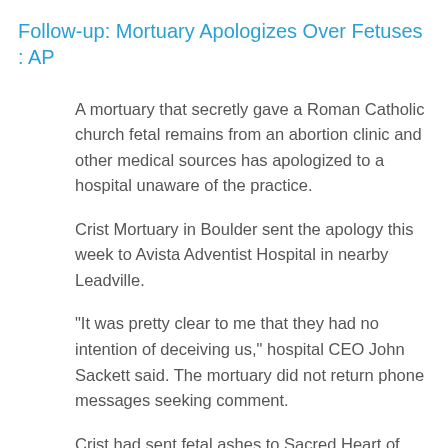Follow-up: Mortuary Apologizes Over Fetuses : AP
A mortuary that secretly gave a Roman Catholic church fetal remains from an abortion clinic and other medical sources has apologized to a hospital unaware of the practice.
Crist Mortuary in Boulder sent the apology this week to Avista Adventist Hospital in nearby Leadville.
"It was pretty clear to me that they had no intention of deceiving us," hospital CEO John Sackett said. The mortuary did not return phone messages seeking comment.
Crist had sent fetal ashes to Sacred Heart of Mary Catholic Church in Boulder for almost a decade. The church had privately scattered the ashes at a memorial wall but decided to publicize the ceremony the day after the 32nd anniversary of Roe v. Wade, the U.S. Supreme Court decision